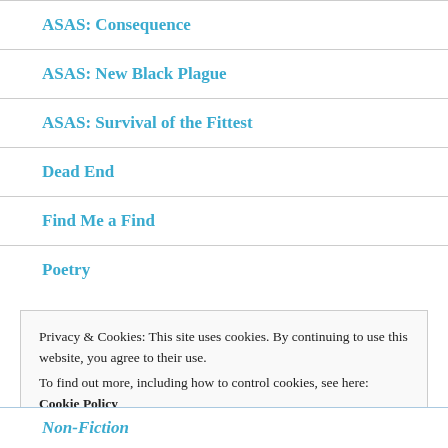ASAS: Consequence
ASAS: New Black Plague
ASAS: Survival of the Fittest
Dead End
Find Me a Find
Poetry
Privacy & Cookies: This site uses cookies. By continuing to use this website, you agree to their use.
To find out more, including how to control cookies, see here: Cookie Policy
Non-Fiction